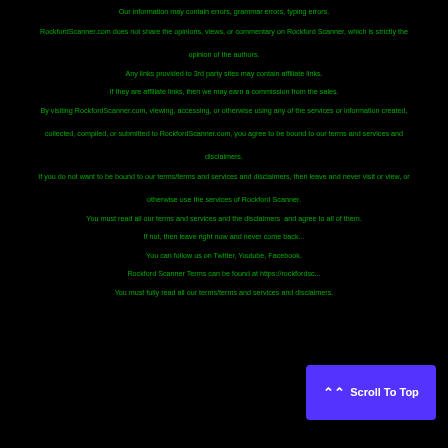Our information may contain errors, grammar errors, typing errors.
RockfordScanner.com does not share the opinions, views, or commentary on Rockford Scanner, which is strictly the opinion of the authors.
Any links provided to 3rd party sites may contain affiliate links.
If they are affiliate links, then we may earn a commission from the sales.
By visiting RockfordScanner.com, viewing, accessing, or otherwise using any of the services or information created, collected, compiled, or submitted to RockfordScanner.com, you agree to be bound to our terms and services and disclaimers.
If you do not want to be bound to our terms/terms and services and disclaimers, then leave and never visit or view, or otherwise use the services of Rockford Scanner.
You must read all our terms and services and the disclaimers and agree to all of them.
If not, then leave right now and never come back...
You can follow us on Twitter, Youtube, Facebook.
Rockford Scanner Terms can be found at https://rockfordsc...
You must fully read all our terms/terms and services and disclaimers.